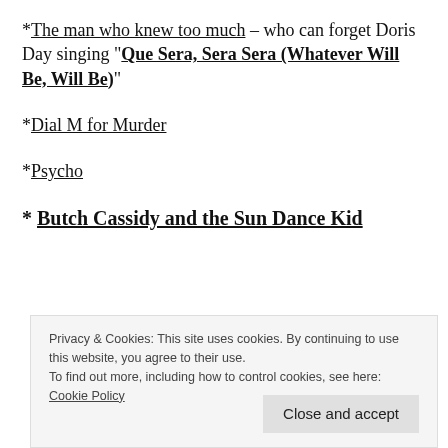*The man who knew too much – who can forget Doris Day singing "Que Sera, Sera Sera (Whatever Will Be, Will Be)"
*Dial M for Murder
*Psycho
* Butch Cassidy and the Sun Dance Kid
Privacy & Cookies: This site uses cookies. By continuing to use this website, you agree to their use. To find out more, including how to control cookies, see here: Cookie Policy